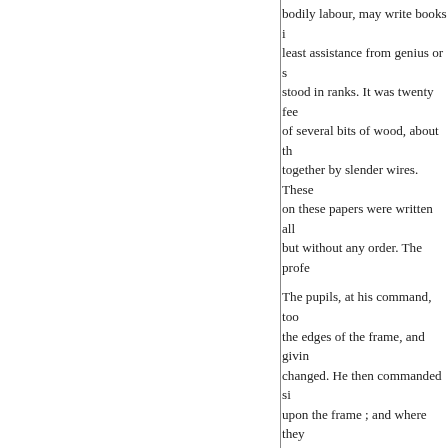bodily labour, may write books i least assistance from genius or s stood in ranks. It was twenty fee of several bits of wood, about th together by slender wires. These on these papers were written all but without any order. The profe
The pupils, at his command, too the edges of the frame, and givin changed. He then commanded si upon the frame ; and where they dictated to the four remaining bo every turn the engine was so con moved upside down. Six hours a showed me several volumes in la piece together, and out of those n which, however, might be still in and employing five hundred such several collections. He assured m had emptied the whole vocabula proportion there is in books betw
I made my humblest acknowled promised, if ever I had the goo